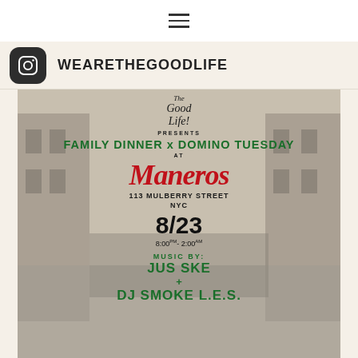≡ (hamburger menu)
WEARETHEGOODLIFE
[Figure (infographic): Event flyer for The Good Life presents Family Dinner x Domino Tuesday at Maneros, 113 Mulberry Street NYC, 8/23, 8:00PM-2:00AM, Music by: JUS SKE + DJ SMOKE L.E.S. Background is a vintage black and white street scene photo.]